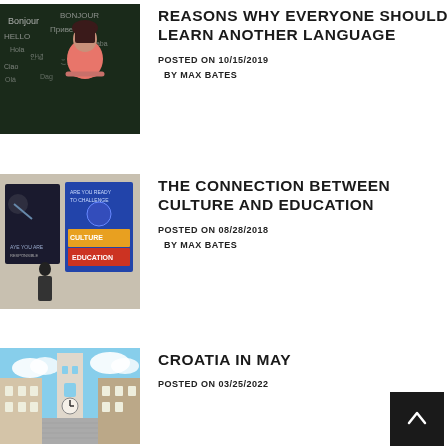[Figure (photo): Woman in red top standing in front of a chalkboard covered with greetings in multiple languages]
REASONS WHY EVERYONE SHOULD LEARN ANOTHER LANGUAGE
POSTED ON 10/15/2019
BY MAX BATES
[Figure (photo): Person looking at posters about Culture and Education on a wall]
THE CONNECTION BETWEEN CULTURE AND EDUCATION
POSTED ON 08/28/2018
BY MAX BATES
[Figure (photo): Narrow street in Croatia with a church tower and blue sky]
CROATIA IN MAY
POSTED ON 03/25/2022